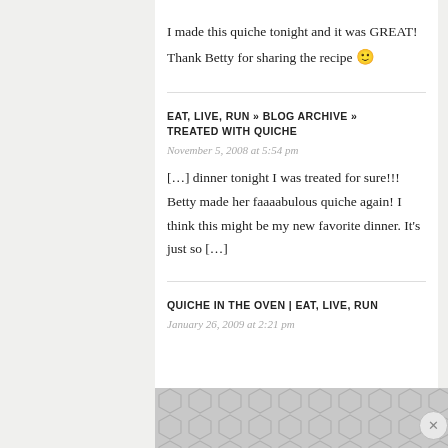I made this quiche tonight and it was GREAT! Thank Betty for sharing the recipe 🙂
EAT, LIVE, RUN » BLOG ARCHIVE » TREATED WITH QUICHE
November 5, 2008 at 5:54 pm
[…] dinner tonight I was treated for sure!!! Betty made her faaaabulous quiche again! I think this might be my new favorite dinner. It's just so […]
QUICHE IN THE OVEN | EAT, LIVE, RUN
January 26, 2009 at 2:21 pm
[Figure (other): Advertisement banner with geometric hexagon pattern and close button]